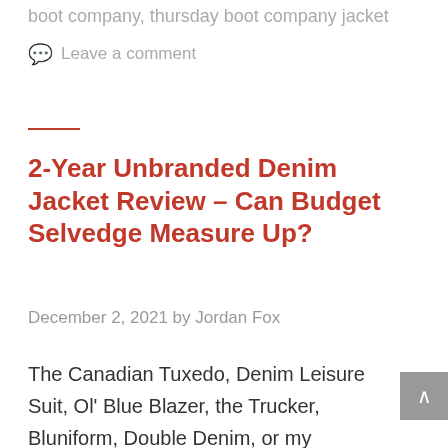boot company, thursday boot company jacket
💬 Leave a comment
2-Year Unbranded Denim Jacket Review – Can Budget Selvedge Measure Up?
December 2, 2021 by Jordan Fox
The Canadian Tuxedo, Denim Leisure Suit, Ol' Blue Blazer, the Trucker, Bluniform, Double Denim, or my personal favourite, the Dunville Di...